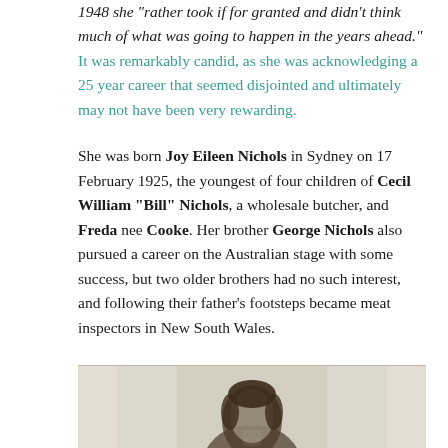1948 she "rather took if for granted and didn't think much of what was going to happen in the years ahead." It was remarkably candid, as she was acknowledging a 25 year career that seemed disjointed and ultimately may not have been very rewarding.
She was born Joy Eileen Nichols in Sydney on 17 February 1925, the youngest of four children of Cecil William "Bill" Nichols, a wholesale butcher, and Freda nee Cooke. Her brother George Nichols also pursued a career on the Australian stage with some success, but two older brothers had no such interest, and following their father's footsteps became meat inspectors in New South Wales.
[Figure (photo): Black and white portrait photograph of a young woman, partially visible at the bottom of the page]